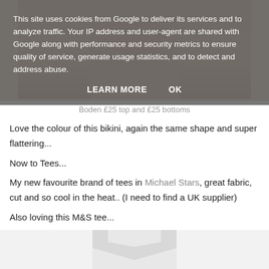[Figure (photo): Photo of bikini top and bottoms from Boden, cropped body shot]
Boden £25 top and £25 bottoms
Love the colour of this bikini, again the same shape and super flattering...
Now to Tees...
My new favourite brand of tees in Michael Stars, great fabric, cut and so cool in the heat.. (I need to find a UK supplier)
Also loving this M&S tee...
[Figure (photo): Bottom of page showing partial photo of a white M&S tee shirt]
This site uses cookies from Google to deliver its services and to analyze traffic. Your IP address and user-agent are shared with Google along with performance and security metrics to ensure quality of service, generate usage statistics, and to detect and address abuse.
LEARN MORE    OK